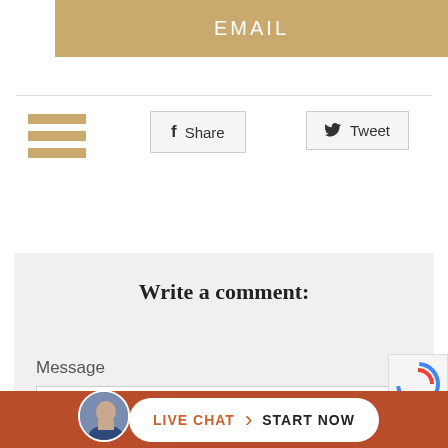EMAIL
[Figure (other): Hamburger menu icon (three horizontal gold/tan bars)]
Share
Tweet
Write a comment:
Message
[Figure (other): reCAPTCHA logo badge]
LIVE CHAT  START NOW